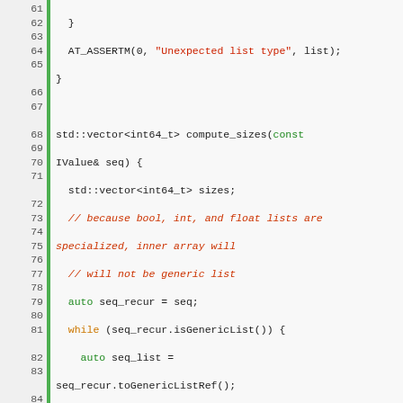[Figure (screenshot): C++ source code listing with syntax highlighting, line numbers 61-88, showing functions compute_sizes and checkSequenceSize and start of storeLastDimension template function.]